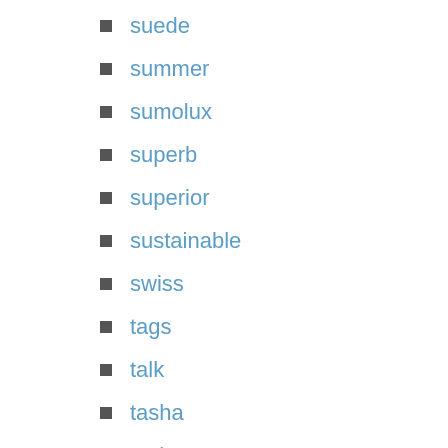suede
summer
sumolux
superb
superior
sustainable
swiss
tags
talk
tasha
taylor
team
tear
tell
testing
texas
thacker
thomas
thompson
thredup
tobias
tods
tonquality